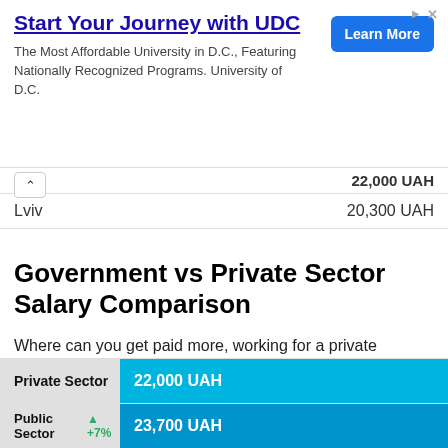[Figure (other): Advertisement banner: 'Start Your Journey with UDC - The Most Affordable University in D.C., Featuring Nationally Recognized Programs. University of D.C.' with a blue 'Learn More' button.]
| City | Salary |
| --- | --- |
|  | 22,000 UAH |
| Lviv | 20,300 UAH |
Government vs Private Sector Salary Comparison
Where can you get paid more, working for a private company or for the government? Public sector employees in Ukraine earn 7% more than their private sector counterparts on average across all sectors.
| Sector | Salary |
| --- | --- |
| Private Sector | 22,000 UAH |
| Public Sector +7% | 23,700 UAH |